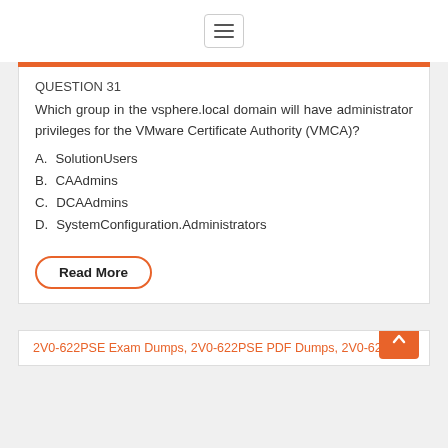☰ (hamburger menu icon)
QUESTION 31
Which group in the vsphere.local domain will have administrator privileges for the VMware Certificate Authority (VMCA)?
A.  SolutionUsers
B.  CAAdmins
C.  DCAAdmins
D.  SystemConfiguration.Administrators
Read More
2V0-622PSE Exam Dumps, 2V0-622PSE PDF Dumps, 2V0-622PSE